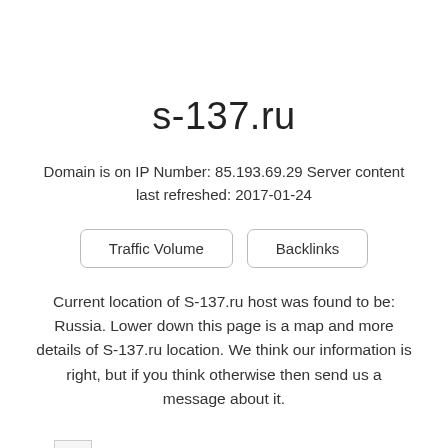s-137.ru
Domain is on IP Number: 85.193.69.29 Server content last refreshed: 2017-01-24
Traffic Volume | Backlinks
Current location of S-137.ru host was found to be: Russia. Lower down this page is a map and more details of S-137.ru location. We think our information is right, but if you think otherwise then send us a message about it.
[Figure (photo): Broken image placeholder (small thumbnail with landscape image icon)]